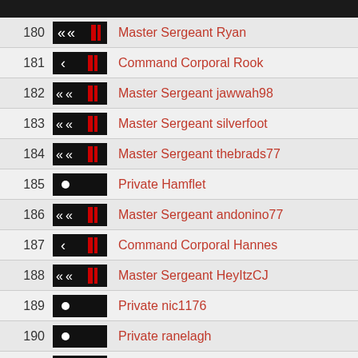180 Master Sergeant Ryan
181 Command Corporal Rook
182 Master Sergeant jawwah98
183 Master Sergeant silverfoot
184 Master Sergeant thebrads77
185 Private Hamflet
186 Master Sergeant andonino77
187 Command Corporal Hannes
188 Master Sergeant HeyItzCJ
189 Private nic1176
190 Private ranelagh
191 Private iyazi